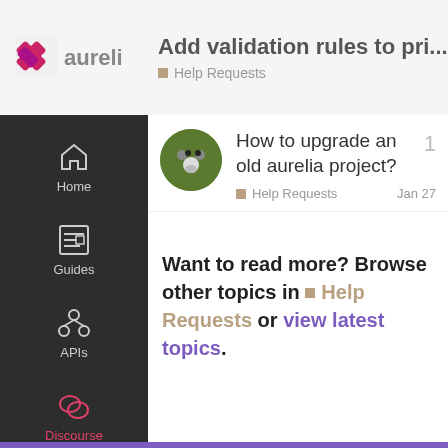Add validation rules to pri... | Help Requests
[Figure (logo): Aurelia framework logo with pink/magenta X icon and text 'aureli...']
How to upgrade an old aurelia project?
Help Requests | Jan 27 | 1 reply
Want to read more? Browse other topics in Help Requests or view latest topics.